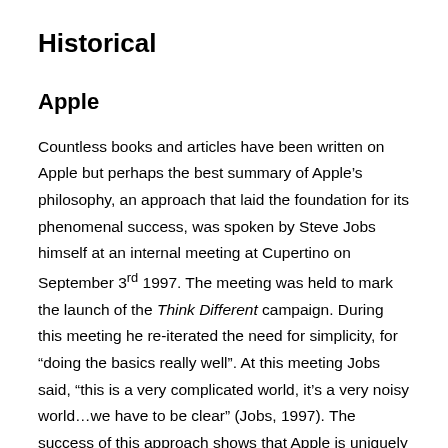Historical
Apple
Countless books and articles have been written on Apple but perhaps the best summary of Apple’s philosophy, an approach that laid the foundation for its phenomenal success, was spoken by Steve Jobs himself at an internal meeting at Cupertino on September 3rd 1997. The meeting was held to mark the launch of the Think Different campaign. During this meeting he re-iterated the need for simplicity, for “doing the basics really well”. At this meeting Jobs said, “this is a very complicated world, it’s a very noisy world…we have to be clear” (Jobs, 1997). The success of this approach shows that Apple is uniquely adept at taking something highly complex and making it